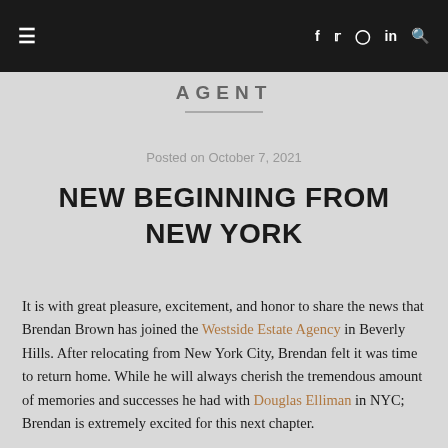Navigation bar with hamburger menu and social icons (f, twitter, instagram, in, search)
AGENT
Posted on October 7, 2021
NEW BEGINNING FROM NEW YORK
It is with great pleasure, excitement, and honor to share the news that Brendan Brown has joined the Westside Estate Agency in Beverly Hills. After relocating from New York City, Brendan felt it was time to return home. While he will always cherish the tremendous amount of memories and successes he had with Douglas Elliman in NYC; Brendan is extremely excited for this next chapter.